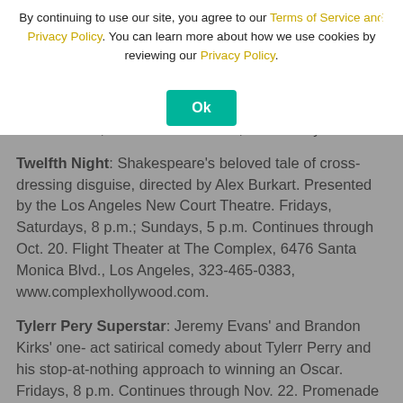Becca's exasperating vagaries. (818) 849-4039, theatreunleashed.com. (Jenny Lower). Thursdays-Saturdays, 8 p.m. Continues through Nov. 9. (818) 849-4039, theatreunleashed.com. The Belfry Stage, Upstairs at the Crown, 11031 Camarillo St., North Hollywood.
Twelfth Night: Shakespeare's beloved tale of cross-dressing disguise, directed by Alex Burkart. Presented by the Los Angeles New Court Theatre. Fridays, Saturdays, 8 p.m.; Sundays, 5 p.m. Continues through Oct. 20. Flight Theater at The Complex, 6476 Santa Monica Blvd., Los Angeles, 323-465-0383, www.complexhollywood.com.
Tylerr Pery Superstar: Jeremy Evans' and Brandon Kirks' one-act satirical comedy about Tylerr Perry and his stop-at-nothing approach to winning an Oscar. Fridays, 8 p.m. Continues through Nov. 22. Promenade Playhouse, 1404 Third Street Promenade, Santa Monica, 310-656-8070, www.promenadeplayhouse.com.
Uncle Vanya: Golden Globe-winner Stacy Keach, Grace Gummer (HBO's The Newsroom), and Josh Radnor (How I Met Your Mother)
By continuing to use our site, you agree to our Terms of Service and Privacy Policy. You can learn more about how we use cookies by reviewing our Privacy Policy.